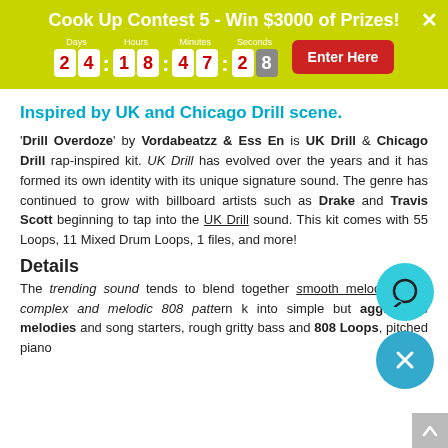Cook Up Contest 5 - Win $3000 of Prizes!
Inspired by UK and Chicago Drill scene.
'Drill Overdoze' by Vordabeatzz & Ess En is UK Drill & Chicago Drill rap-inspired kit. UK Drill has evolved over the years and it has formed its own identity with its unique signature sound. The genre has continued to grow with billboard artists such as Drake and Travis Scott beginning to tap into the UK Drill sound. This kit comes with 55 Loops, 11 Mixed Drum Loops, 1 files, and more!
Details
The trending sound tends to blend together smooth melodies with complex and melodic 808 patt... k into simple but aggressive melodies and song starters, rough gritty bass and 808 Loops, pitched piano